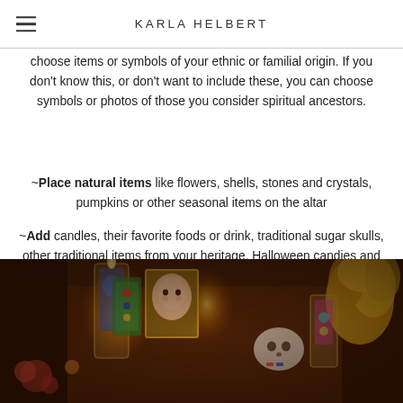KARLA HELBERT
choose items or symbols of your ethnic or familial origin. If you don't know this, or don't want to include these, you can choose symbols or photos of those you consider spiritual ancestors.
~Place natural items like flowers, shells, stones and crystals, pumpkins or other seasonal items on the altar
~Add candles, their favorite foods or drink, traditional sugar skulls, other traditional items from your heritage, Halloween candies and treats, anything else that appeals to you or reminds you of your loved ones or other ancestors.
[Figure (photo): A colorful Day of the Dead altar (ofrenda) with candles, flowers, a baby photo in a frame, sugar skull decorations, and warm glowing candlelight.]